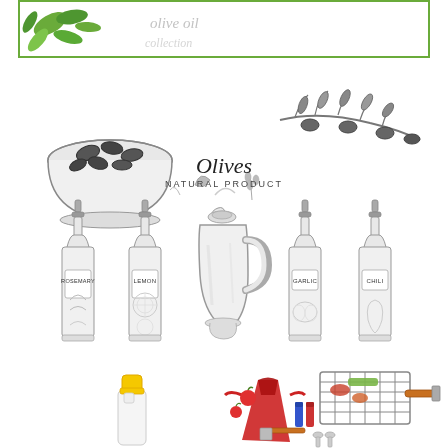[Figure (illustration): Top banner with green border containing green herb leaves on left and handwritten-style script text on right]
[Figure (illustration): Sketch illustration of olives in a bowl, olive branch with olives, text 'Olives Natural Product', herb sprigs, and four olive oil bottles labeled Rosemary, Lemon, Garlic, Chili, plus a ceramic olive oil jug/pitcher in the center]
[Figure (illustration): Bottom section: left side shows a colorful bottle with yellow stopper; right side shows a colorful flat-lay of BBQ/grilling items including apron, grill, spatula, tongs, condiment bottles, tomatoes, and utensils]